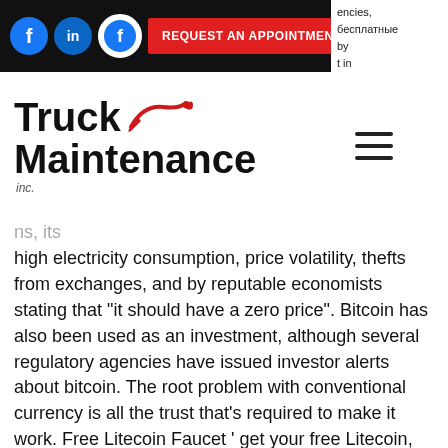[Figure (screenshot): Navigation bar with social media icons (Facebook, LinkedIn, Facebook) and a red REQUEST AN APPOINTMENT button on black background]
[Figure (logo): Truck Maintenance Inc. logo with red wrench graphic and bold black text]
encies, бесплатные by t in ns, its high electricity consumption, price volatility, thefts from exchanges, and by reputable economists stating that "it should have a zero price". Bitcoin has also been used as an investment, although several regulatory agencies have issued investor alerts about bitcoin. The root problem with conventional currency is all the trust that's required to make it work. Free Litecoin Faucet ' get your free Litecoin, bitstarz бесплатные вращения code. As BitFun is integrated with CoinPot, therefore all of your earnings go directly into your account of CoinPot, bitstarz ei talletusbonusta code. Everything on the bitstarz platform is well laid out and easy to find. The games are able to be sorted